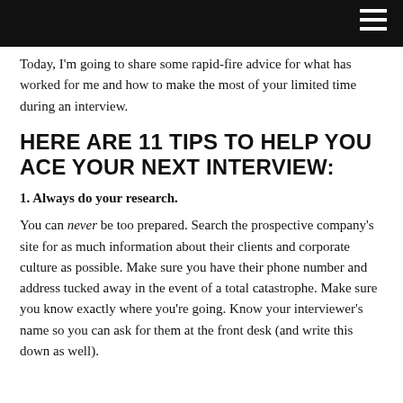Today, I'm going to share some rapid-fire advice for what has worked for me and how to make the most of your limited time during an interview.
HERE ARE 11 TIPS TO HELP YOU ACE YOUR NEXT INTERVIEW:
1. Always do your research.
You can never be too prepared. Search the prospective company's site for as much information about their clients and corporate culture as possible. Make sure you have their phone number and address tucked away in the event of a total catastrophe. Make sure you know exactly where you're going. Know your interviewer's name so you can ask for them at the front desk (and write this down as well).